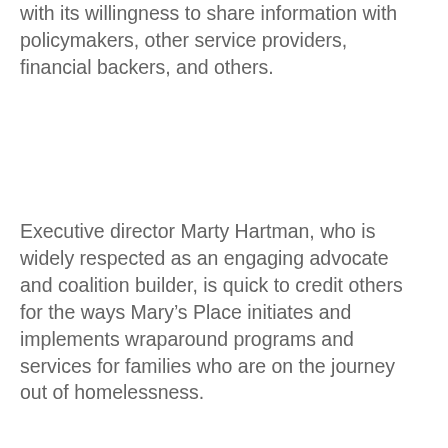with its willingness to share information with policymakers, other service providers, financial backers, and others.
Executive director Marty Hartman, who is widely respected as an engaging advocate and coalition builder, is quick to credit others for the ways Mary's Place initiates and implements wraparound programs and services for families who are on the journey out of homelessness.
“I want to be sure we’re getting the most current information from nationwide resources on best practices, that we have excellent staff that are implementing those ideas and programs, and most importantly, that we’re gathering and using good data to